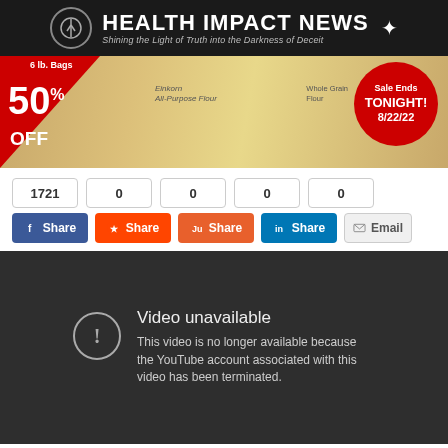HEALTH IMPACT NEWS — Shining the Light of Truth into the Darkness of Deceit
[Figure (photo): Advertisement banner showing flour bags with 50% OFF sale ending TONIGHT 8/22/22]
1721  0  0  0  0
Share (Facebook)  Share (Reddit)  Share (StumbleUpon)  Share (LinkedIn)  Email
[Figure (screenshot): YouTube video unavailable message: 'Video unavailable. This video is no longer available because the YouTube account associated with this video has been terminated.']